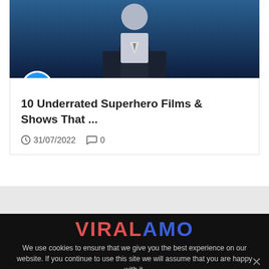[Figure (photo): Hero image of a person in a suit/superhero costume against a blue background]
10 Underrated Superhero Films & Shows That ...
31/07/2022   0
We use cookies to ensure that we give you the best experience on our website. If you continue to use this site we will assume that you are happy with it.
I Agree   Privacy policy